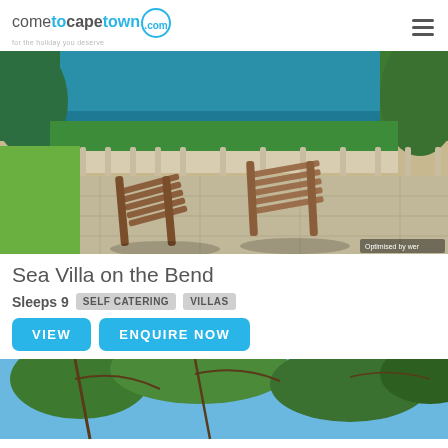cometocapetown.com — for the holiday you deserve
[Figure (photo): Outdoor terrace with two wooden deck chairs overlooking a garden and ocean view, with a white balustrade railing and lush greenery]
Sea Villa on the Bend
Sleeps 9  SELF CATERING  VILLAS
VIEW  ENQUIRE NOW
[Figure (photo): Looking up through tree branches at a blue sky]